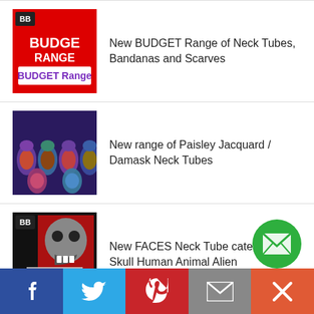[Figure (photo): Budget Range logo on red background with BB badge]
New BUDGET Range of Neck Tubes, Bandanas and Scarves
[Figure (photo): Multiple paisley jacquard neck tubes displayed]
New range of Paisley Jacquard / Damask Neck Tubes
[Figure (photo): Faces neck tube category image with skull face and Faces label]
New FACES Neck Tube category - Skull Human Animal Alien
[Figure (photo): Multiple colorful skull jaw face neck tubes]
Life Size Skull Jaw Face Neck Tube still top of Best Sellers